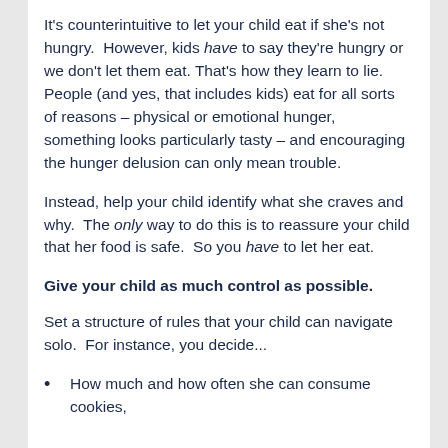It's counterintuitive to let your child eat if she's not hungry.  However, kids have to say they're hungry or we don't let them eat. That's how they learn to lie.  People (and yes, that includes kids) eat for all sorts of reasons – physical or emotional hunger, something looks particularly tasty – and encouraging the hunger delusion can only mean trouble.
Instead, help your child identify what she craves and why.  The only way to do this is to reassure your child that her food is safe.  So you have to let her eat.
Give your child as much control as possible.
Set a structure of rules that your child can navigate solo.  For instance, you decide...
How much and how often she can consume cookies,